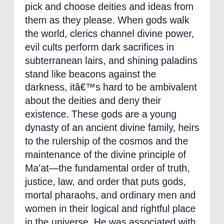pick and choose deities and ideas from them as they please. When gods walk the world, clerics channel divine power, evil cults perform dark sacrifices in subterranean lairs, and shining paladins stand like beacons against the darkness, itâs hard to be ambivalent about the deities and deny their existence. These gods are a young dynasty of an ancient divine family, heirs to the rulership of the cosmos and the maintenance of the divine principle of Ma’at—the fundamental order of truth, justice, law, and order that puts gods, mortal pharaohs, and ordinary men and women in their logical and rightful place in the universe. He was associated with the horse (as shown by the clay horse figurine offerings at Belenos’s Sainte-Sabino shrine in Burgundy) and also the